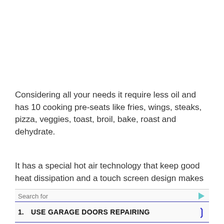Considering all your needs it require less oil and has 10 cooking pre-seats like fries, wings, steaks, pizza, veggies, toast, broil, bake, roast and dehydrate.
It has a special hot air technology that keep good heat dissipation and a touch screen design makes
Search for
1. USE GARAGE DOORS REPAIRING
2. EOSINOPHILIC ASTHMA TRIGGER
Yahoo! Search | Sponsored